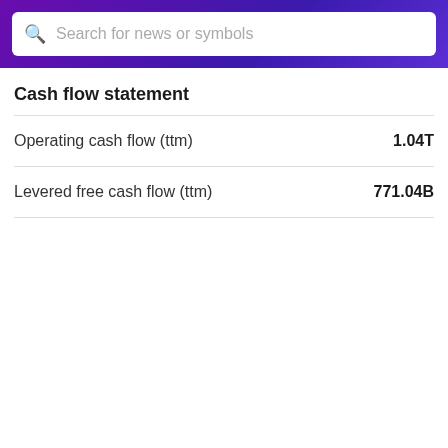Search for news or symbols
Cash flow statement
|  |  |
| --- | --- |
| Operating cash flow (ttm) | 1.04T |
| Levered free cash flow (ttm) | 771.04B |